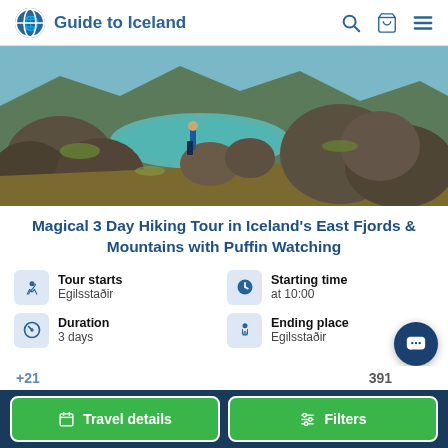Guide to Iceland
[Figure (photo): Person in blue jacket standing among volcanic rocks near a turquoise pool in Iceland's East Fjords landscape]
Magical 3 Day Hiking Tour in Iceland's East Fjords & Mountains with Puffin Watching
Tour starts
Egilsstaðir
Starting time
at 10:00
Duration
3 days
Ending place
Egilsstaðir
Travel details
Filters